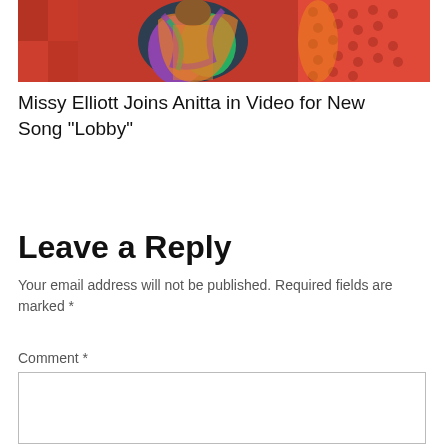[Figure (photo): Photo of Missy Elliott and Anitta in colorful outfits against a red background with vibrant patterns]
Missy Elliott Joins Anitta in Video for New Song “Lobby”
Leave a Reply
Your email address will not be published. Required fields are marked *
Comment *